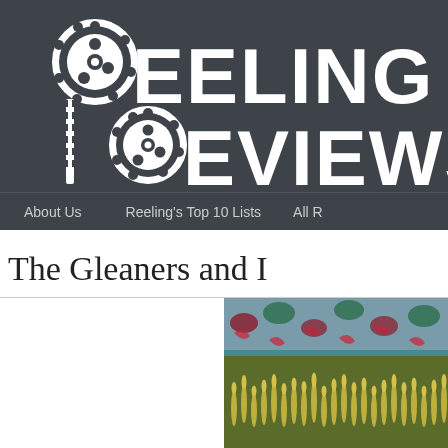[Figure (logo): Reeling Reviews website logo with film reel icons and large white text reading REELING REVIEWS on dark background]
About Us    Reeling's Top 10 Lists    All R
The Gleaners and I
[Figure (photo): Close-up photograph of wheat/grain stalks with colorful patterned fabric in background]